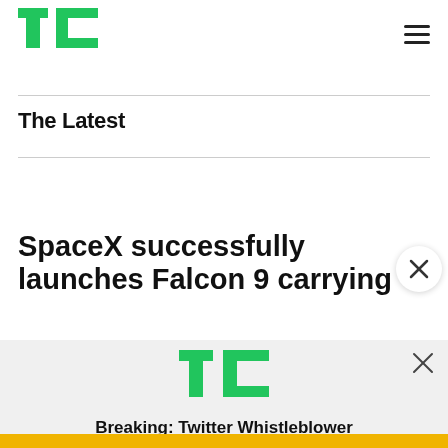TechCrunch logo and hamburger menu
The Latest
SpaceX successfully launches Falcon 9 carrying
[Figure (logo): TechCrunch TC logo in green]
Breaking: Twitter Whistleblower
READ NOW